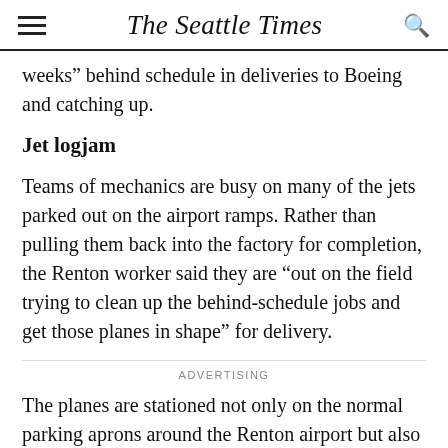The Seattle Times
weeks” behind schedule in deliveries to Boeing and catching up.
Jet logjam
Teams of mechanics are busy on many of the jets parked out on the airport ramps. Rather than pulling them back into the factory for completion, the Renton worker said they are “out on the field trying to clean up the behind-schedule jobs and get those planes in shape” for delivery.
ADVERTISING
The planes are stationed not only on the normal parking aprons around the Renton airport but also on the pier along the southern edge of Lake